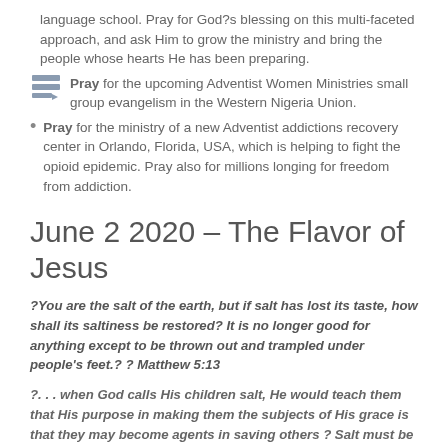language school. Pray for God?s blessing on this multi-faceted approach, and ask Him to grow the ministry and bring the people whose hearts He has been preparing.
Pray for the upcoming Adventist Women Ministries small group evangelism in the Western Nigeria Union.
Pray for the ministry of a new Adventist addictions recovery center in Orlando, Florida, USA, which is helping to fight the opioid epidemic. Pray also for millions longing for freedom from addiction.
June 2 2020 – The Flavor of Jesus
?You are the salt of the earth, but if salt has lost its taste, how shall its saltiness be restored? It is no longer good for anything except to be thrown out and trampled under people's feet.? ? Matthew 5:13
?. . . when God calls His children salt, He would teach them that His purpose in making them the subjects of His grace is that they may become agents in saving others ? Salt must be